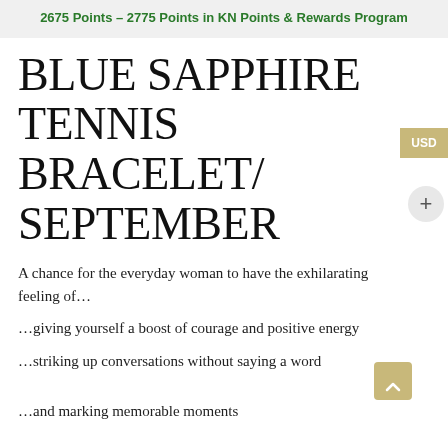2675 Points – 2775 Points in KN Points & Rewards Program
BLUE SAPPHIRE TENNIS BRACELET/ SEPTEMBER
A chance for the everyday woman to have the exhilarating feeling of...
…giving yourself a boost of courage and positive energy
…striking up conversations without saying a word
…and marking memorable moments